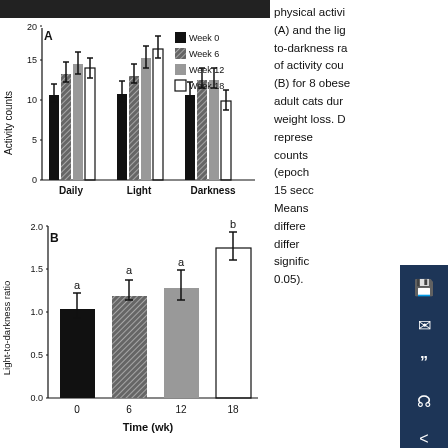[Figure (grouped-bar-chart): A — Activity counts (Daily, Light, Darkness) by week]
[Figure (bar-chart): B — Light-to-darkness ratio over time]
physical activity (A) and the light-to-darkness ratio of activity counts (B) for 8 obese adult cats during weight loss. Data represent counts (epoch 15 seconds). Means with different letters differ significantly (P < 0.05).